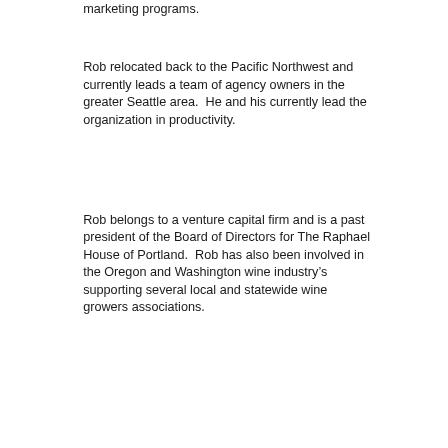marketing programs.
Rob relocated back to the Pacific Northwest and currently leads a team of agency owners in the greater Seattle area.  He and his currently lead the organization in productivity.
Rob belongs to a venture capital firm and is a past president of the Board of Directors for The Raphael House of Portland.  Rob has also been involved in the Oregon and Washington wine industry's supporting several local and statewide wine growers associations.